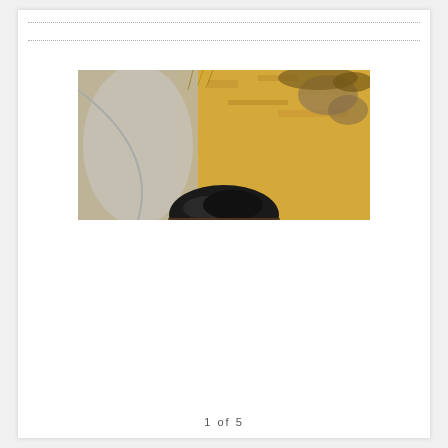[Figure (photo): A blurry/partial photo showing the top of a person's head with dark hair, set against a background of a light-colored dirt/concrete path and dry golden grass/brush. The image is cropped such that only the top of the head is visible.]
1  of  5